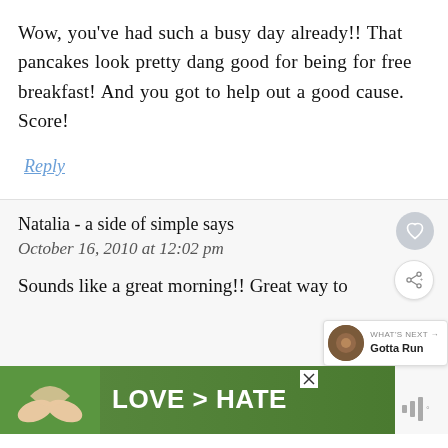Wow, you've had such a busy day already!! That pancakes look pretty dang good for being for free breakfast! And you got to help out a good cause. Score!
Reply
Natalia - a side of simple says
October 16, 2010 at 12:02 pm
Sounds like a great morning!! Great way to
[Figure (screenshot): Advertisement banner showing hands making a heart shape with text LOVE > HATE on a green background, with a close button and audio icon]
[Figure (screenshot): What's Next widget showing a circular thumbnail and text Gotta Run]